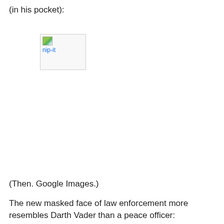(in his pocket):
[Figure (other): Broken image placeholder with alt text 'nip-it' shown as a small broken image icon with blue link text]
(Then. Google Images.)
The new masked face of law enforcement more resembles Darth Vader than a peace officer: